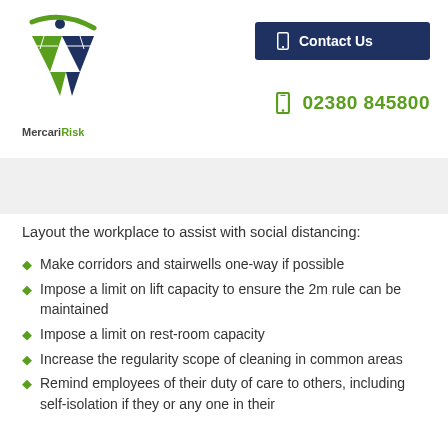[Figure (logo): MercariRisk company logo with green and blue triangular bird/chevron shape and company name]
Contact Us
02380 845800
Layout the workplace to assist with social distancing:
Make corridors and stairwells one-way if possible
Impose a limit on lift capacity to ensure the 2m rule can be maintained
Impose a limit on rest-room capacity
Increase the regularity scope of cleaning in common areas
Remind employees of their duty of care to others, including self-isolation if they or any one in their